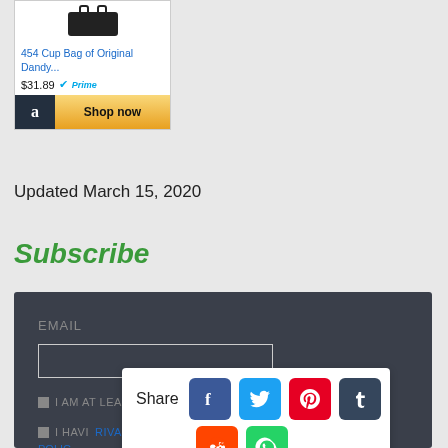[Figure (screenshot): Amazon product widget showing '454 Cup Bag of Original Dandy...' priced at $31.89 with Prime badge and Shop now button]
Updated March 15, 2020
Subscribe
[Figure (screenshot): Email subscription form with EMAIL label, text input field, two checkboxes for age and privacy policy confirmation]
[Figure (infographic): Share overlay with Facebook, Twitter, Pinterest, Tumblr, Reddit, and WhatsApp icons]